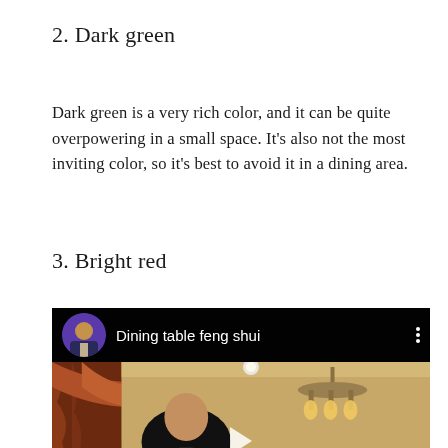2. Dark green
Dark green is a very rich color, and it can be quite overpowering in a small space. It’s also not the most inviting color, so it’s best to avoid it in a dining area.
3. Bright red
[Figure (screenshot): Video thumbnail showing a man in a dining room setting with chandelier and curtains, overlaid with a dark header bar reading 'Dining table feng shui' with a circular avatar of a man in a suit, and a three-dot menu icon. A play button is visible at the bottom center.]